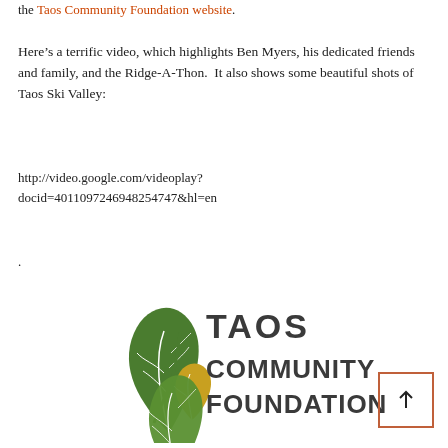the Taos Community Foundation website.
Here’s a terrific video, which highlights Ben Myers, his dedicated friends and family, and the Ridge-A-Thon.  It also shows some beautiful shots of Taos Ski Valley:
http://video.google.com/videoplay?docid=4011097246948254747&hl=en
.
[Figure (logo): Taos Community Foundation logo with two green leaves and one gold leaf on a stem, with the text TAOS COMMUNITY FOUNDATION in dark gray/green]